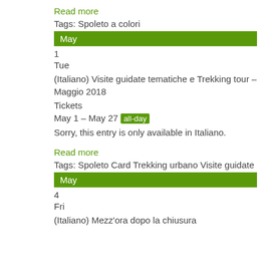Read more
Tags: Spoleto a colori
May
1
Tue
(Italiano) Visite guidate tematiche e Trekking tour – Maggio 2018
Tickets
May 1 – May 27 all-day
Sorry, this entry is only available in Italiano.
Read more
Tags: Spoleto Card Trekking urbano Visite guidate
May
4
Fri
(Italiano) Mezz'ora dopo la chiusura